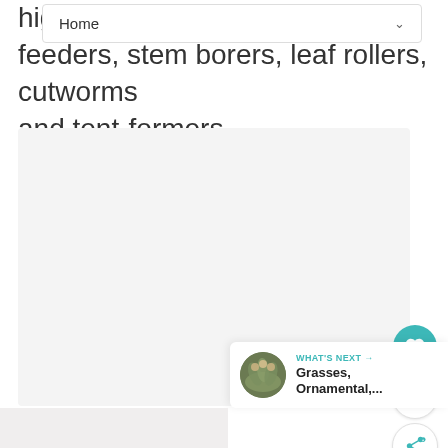hig... leaf feeders, stem borers, leaf rollers, cutworms and tent-formers.
[Figure (screenshot): Navigation bar with 'Home' label and dropdown chevron]
[Figure (photo): Large light gray image/photo area in the center of the page]
[Figure (infographic): UI controls: teal heart button, count bubble showing '1', and share button with teal icon]
[Figure (infographic): What's Next card showing a circular thumbnail of ornamental grasses and text 'WHAT'S NEXT → Grasses, Ornamental,...']
[Figure (photo): Partial bottom strip of another image/photo]